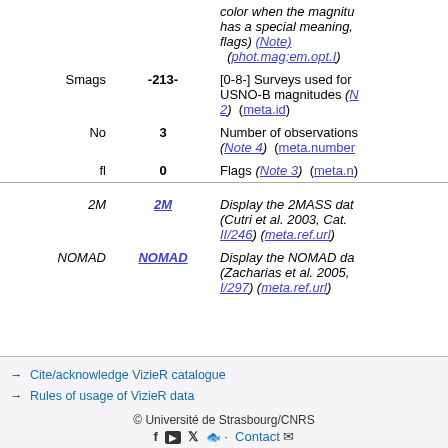| Name | Value | Description |
| --- | --- | --- |
|  |  | color when the magnitude has a special meaning, a flags) (Note) (phot.mag;em.opt.I) |
| Smags | -213- | [0-8-] Surveys used for USNO-B magnitudes (N 2) (meta.id) |
| No | 3 | Number of observations (Note 4) (meta.number) |
| fl | 0 | Flags (Note 3) (meta.n) |
| 2M | 2M | Display the 2MASS data (Cutri et al. 2003, Cat. II/246) (meta.ref.url) |
| NOMAD | NOMAD | Display the NOMAD da (Zacharias et al. 2005, I/297) (meta.ref.url) |
→ Cite/acknowledge VizieR catalogue
→ Rules of usage of VizieR data
© Université de Strasbourg/CNRS
f ▶ 🐦 🐙 · Contact ✉